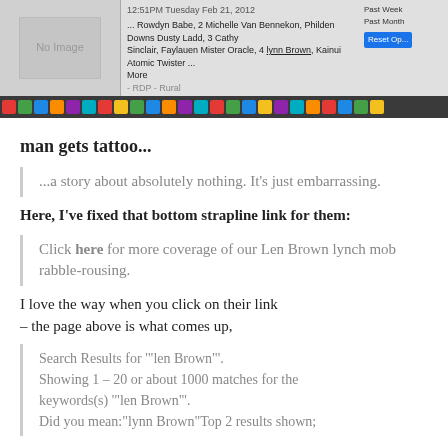[Figure (screenshot): Screenshot of a webpage showing a search result or social media post with 'No Image' placeholder, text about Rowdyn Babe, Michelle Van Bennekon, Philden Downs Dusty Ladd, Cathy Sinclair, Faylauen Mister Oracle, Lynn Brown, Kainui Atomic Twister. Timestamp 12:51PM Tuesday Feb 21, 2012. Also shows a taskbar with colorful icons.]
man gets tattoo...
...a story about absolutely nothing. It's just embarrassing.
Here, I've fixed that bottom strapline link for them:
Click here for more coverage of our Len Brown lynch mob rabble-rousing.
I love the way when you click on their link – the page above is what comes up,
Search Results for '"len Brown"'. Showing 1 – 20 or about 1000 matches for the keywords(s) '"len Brown"'. Did you mean:"lynn Brown"Top 2 results shown;
Another little dig via the IT dept?
or fickle fate...
..or does the entire APN corporate structure completely reject Len Brown and his very...